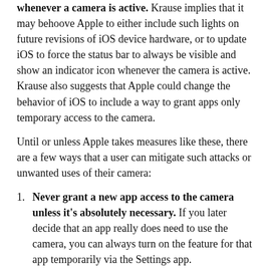whenever a camera is active. Krause implies that it may behoove Apple to either include such lights on future revisions of iOS device hardware, or to update iOS to force the status bar to always be visible and show an indicator icon whenever the camera is active. Krause also suggests that Apple could change the behavior of iOS to include a way to grant apps only temporary access to the camera.
Until or unless Apple takes measures like these, there are a few ways that a user can mitigate such attacks or unwanted uses of their camera:
Never grant a new app access to the camera unless it's absolutely necessary. If you later decide that an app really does need to use the camera, you can always turn on the feature for that app temporarily via the Settings app.
In the Settings app, scroll to the bottom and review the list of apps that are currently installed, and tap on each one to see which permissions you've granted. Revoke any permissions that you feel are unnecessary